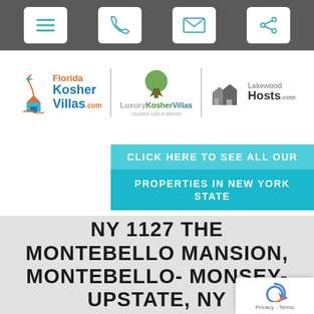Navigation bar with menu, phone, email, and share icons
[Figure (logo): Florida Kosher Villas, Luxury Kosher Villas, and Lakewood Hosts logos side by side with dividers]
[Figure (infographic): Teal banner button: CLICK HERE TO SEE ALL OUR PROPERTIES IN NEW YORK STATE]
NY 1127 THE MONTEBELLO MANSION, MONTEBELLO- MONSEY- UPSTATE, NY